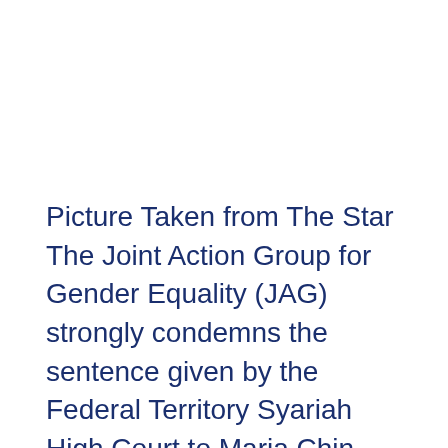Picture Taken from The Star The Joint Action Group for Gender Equality (JAG) strongly condemns the sentence given by the Federal Territory Syariah High Court to Maria Chin Abdullah, Petaling Jaya Member of Parliament, of seven days in jail. The sentence, issued for a public statement Maria made regarding the court's decision to impose a […]